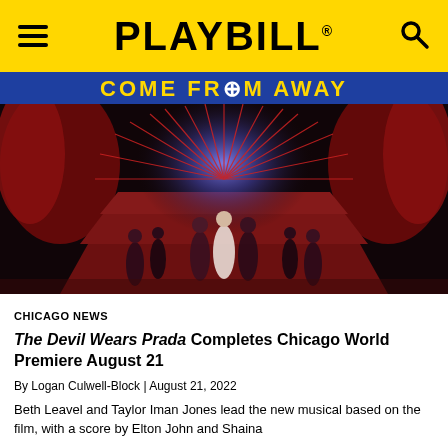PLAYBILL
[Figure (photo): Come From Away advertisement banner above a theatrical stage production photo showing performers on red-carpeted stairs with dramatic red burst lighting and dark curtains.]
CHICAGO NEWS
The Devil Wears Prada Completes Chicago World Premiere August 21
By Logan Culwell-Block | August 21, 2022
Beth Leavel and Taylor Iman Jones lead the new musical based on the film, with a score by Elton John and Shaina